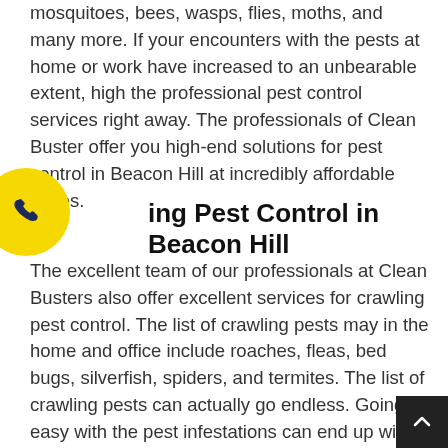mosquitoes, bees, wasps, flies, moths, and many more. If your encounters with the pests at home or work have increased to an unbearable extent, high the professional pest control services right away. The professionals of Clean Buster offer you high-end solutions for pest control in Beacon Hill at incredibly affordable prices.
[Figure (other): Yellow circular phone button with dark blue phone handset icon, positioned on left side of page]
ing Pest Control in Beacon Hill
The excellent team of our professionals at Clean Busters also offer excellent services for crawling pest control. The list of crawling pests may in the home and office include roaches, fleas, bed bugs, silverfish, spiders, and termites. The list of crawling pests can actually go endless. Going easy with the pest infestations can end up with a big loss of your things and peace. So, wait more and hire us for same day crawling pest remova
[Figure (other): Dark scroll-to-top button with white upward chevron arrow, positioned at bottom right corner]